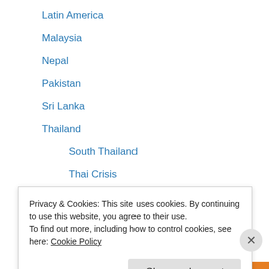Latin America
Malaysia
Nepal
Pakistan
Sri Lanka
Thailand
South Thailand
Thai Crisis
Vietnam
Afghanistan  Burma  Cambodia  Dead Line  English  Etc
Privacy & Cookies: This site uses cookies. By continuing to use this website, you agree to their use.
To find out more, including how to control cookies, see here: Cookie Policy
Close and accept